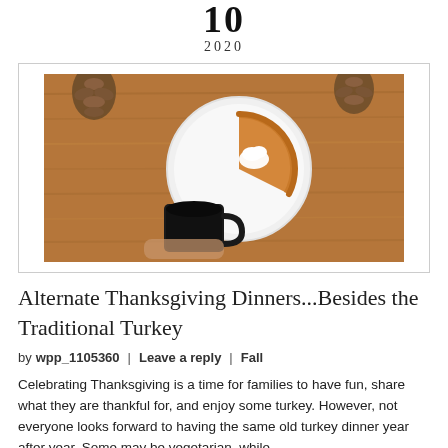10
2020
[Figure (photo): Overhead view of a slice of pumpkin pie on a white plate with whipped cream, and a black coffee cup on a wooden table with pine cones in the background.]
Alternate Thanksgiving Dinners...Besides the Traditional Turkey
by wpp_1105360  |  Leave a reply  |  Fall
Celebrating Thanksgiving is a time for families to have fun, share what they are thankful for, and enjoy some turkey. However, not everyone looks forward to having the same old turkey dinner year after year. Some may be vegetarian, while